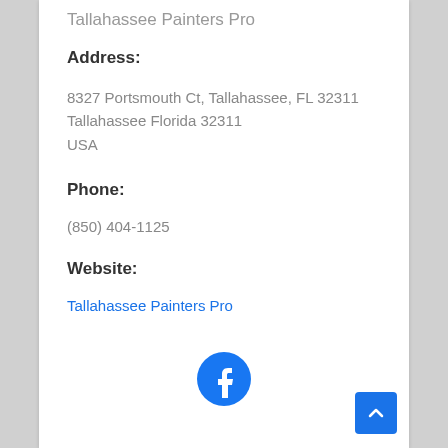Tallahassee Painters Pro
Address:
8327 Portsmouth Ct, Tallahassee, FL 32311
Tallahassee Florida 32311
USA
Phone:
(850) 404-1125
Website:
Tallahassee Painters Pro
[Figure (logo): Facebook logo icon - circular blue icon with white F]